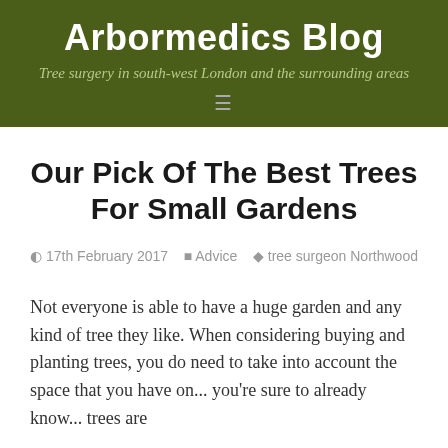Arbormedics Blog
Tree surgery in south-west London and the surrounding areas
Our Pick Of The Best Trees For Small Gardens
17th February 2017  Advice  tree surgeon Northwood
Not everyone is able to have a huge garden and any kind of tree they like. When considering buying and planting trees, you do need to take into account the space that you have on... you're sure to already know... trees are